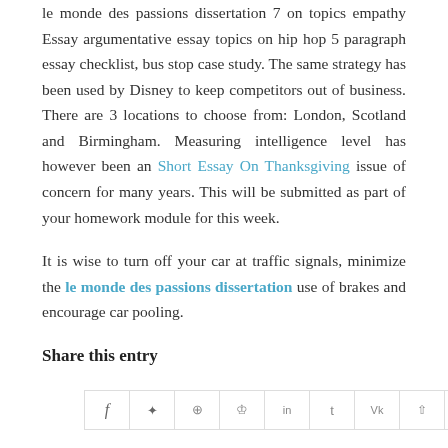le monde des passions dissertation 7 on topics empathy Essay argumentative essay topics on hip hop 5 paragraph essay checklist, bus stop case study. The same strategy has been used by Disney to keep competitors out of business. There are 3 locations to choose from: London, Scotland and Birmingham. Measuring intelligence level has however been an Short Essay On Thanksgiving issue of concern for many years. This will be submitted as part of your homework module for this week.

It is wise to turn off your car at traffic signals, minimize the le monde des passions dissertation use of brakes and encourage car pooling.
Share this entry
[Figure (other): Row of social media sharing icons (Facebook, Twitter, Pinterest, Pinterest, LinkedIn, Tumblr, VK, share, email) in bordered boxes]